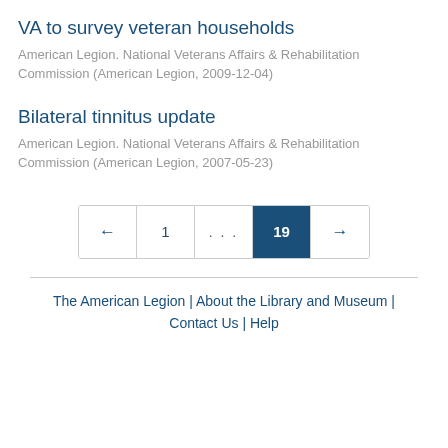VA to survey veteran households
American Legion. National Veterans Affairs & Rehabilitation Commission (American Legion, 2009-12-04)
Bilateral tinnitus update
American Legion. National Veterans Affairs & Rehabilitation Commission (American Legion, 2007-05-23)
← 1 ... 19 →
The American Legion | About the Library and Museum | Contact Us | Help